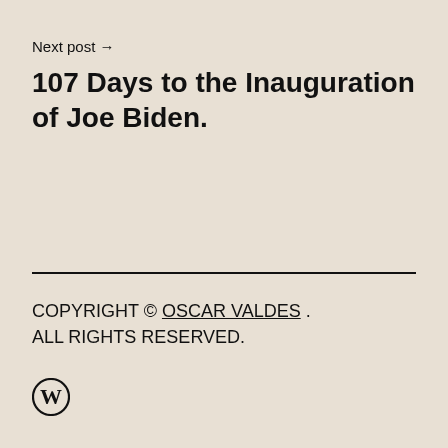Next post →
107 Days to the Inauguration of Joe Biden.
COPYRIGHT © OSCAR VALDES . ALL RIGHTS RESERVED.
[Figure (logo): WordPress logo (W in circle)]